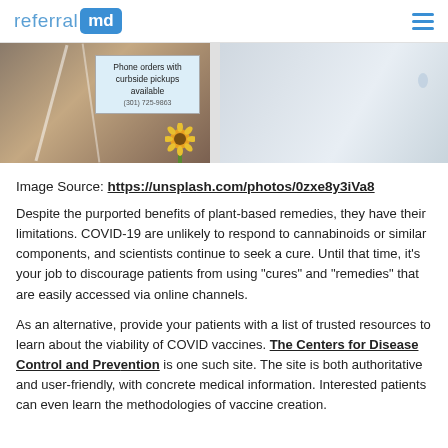referral md
[Figure (photo): Photo of a store window with a sign reading 'Phone orders with curbside pickups available' and a partial sunflower visible, alongside a lighter panel on the right]
Image Source: https://unsplash.com/photos/0zxe8y3iVa8
Despite the purported benefits of plant-based remedies, they have their limitations. COVID-19 are unlikely to respond to cannabinoids or similar components, and scientists continue to seek a cure. Until that time, it's your job to discourage patients from using "cures" and "remedies" that are easily accessed via online channels.
As an alternative, provide your patients with a list of trusted resources to learn about the viability of COVID vaccines. The Centers for Disease Control and Prevention is one such site. The site is both authoritative and user-friendly, with concrete medical information. Interested patients can even learn the methodologies of vaccine creation.